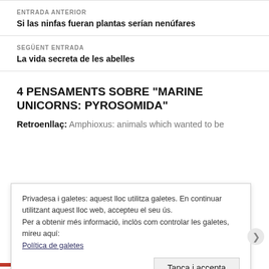ENTRADA ANTERIOR
Si las ninfas fueran plantas serían nenúfares
SEGÜENT ENTRADA
La vida secreta de les abelles
4 PENSAMENTS SOBRE “MARINE UNICORNS: PYROSOMIDA”
Retroenllaç: Amphioxus: animals which wanted to be
Privadesa i galetes: aquest lloc utilitza galetes. En continuar utilitzant aquest lloc web, accepteu el seu ús.
Per a obtenir més informació, inclòs com controlar les galetes, mireu aquí:
Política de galetes
Tanca i accepta